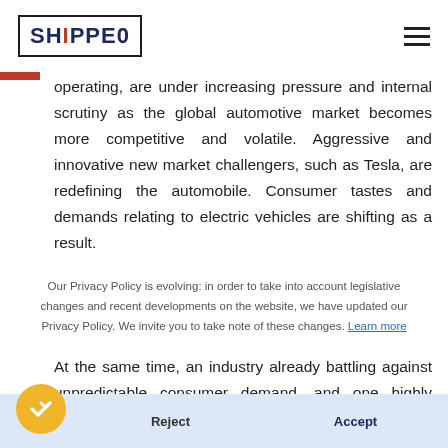SHIPPEO
operating, are under increasing pressure and internal scrutiny as the global automotive market becomes more competitive and volatile. Aggressive and innovative new market challengers, such as Tesla, are redefining the automobile. Consumer tastes and demands relating to electric vehicles are shifting as a result.
Our Privacy Policy is evolving: in order to take into account legislative changes and recent developments on the website, we have updated our Privacy Policy. We invite you to take note of these changes. Learn more
At the same time, an industry already battling against unpredictable consumer demand, and one highly susceptible to economic instability, has faced a tumultuous global pandemic, resulting in violent sales